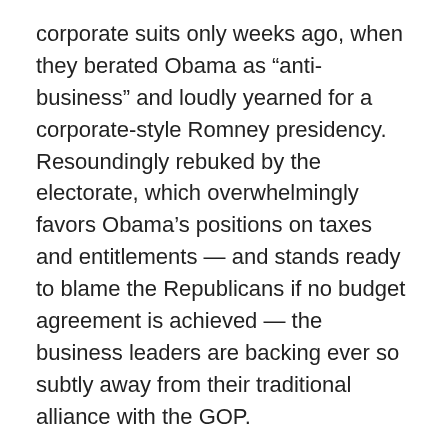corporate suits only weeks ago, when they berated Obama as “anti-business” and loudly yearned for a corporate-style Romney presidency. Resoundingly rebuked by the electorate, which overwhelmingly favors Obama’s positions on taxes and entitlements — and stands ready to blame the Republicans if no budget agreement is achieved — the business leaders are backing ever so subtly away from their traditional alliance with the GOP.
These brand-conscious executives suddenly have realized that the Republican brand, especially at the congressional level, is politically toxic. And they would rather not be too closely identified with it at this dangerous moment.
Remarkably, the Tea Party Republicans have now alienated their party’s most important constituency — the